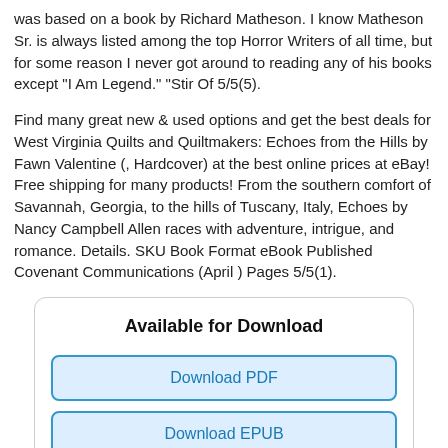was based on a book by Richard Matheson. I know Matheson Sr. is always listed among the top Horror Writers of all time, but for some reason I never got around to reading any of his books except "I Am Legend." "Stir Of 5/5(5).
Find many great new & used options and get the best deals for West Virginia Quilts and Quiltmakers: Echoes from the Hills by Fawn Valentine (, Hardcover) at the best online prices at eBay! Free shipping for many products! From the southern comfort of Savannah, Georgia, to the hills of Tuscany, Italy, Echoes by Nancy Campbell Allen races with adventure, intrigue, and romance. Details. SKU Book Format eBook Published Covenant Communications (April ) Pages 5/5(1).
[Figure (other): A download box with title 'Available for Download' and buttons: Download PDF, Download EPUB, Download FB2, Download MOBI, Download TXT (partially visible)]